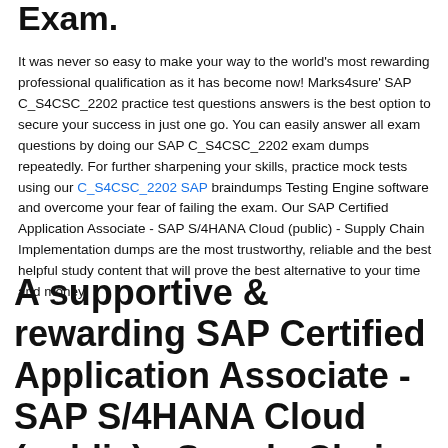Exam.
It was never so easy to make your way to the world's most rewarding professional qualification as it has become now! Marks4sure' SAP C_S4CSC_2202 practice test questions answers is the best option to secure your success in just one go. You can easily answer all exam questions by doing our SAP C_S4CSC_2202 exam dumps repeatedly. For further sharpening your skills, practice mock tests using our C_S4CSC_2202 SAP braindumps Testing Engine software and overcome your fear of failing the exam. Our SAP Certified Application Associate - SAP S/4HANA Cloud (public) - Supply Chain Implementation dumps are the most trustworthy, reliable and the best helpful study content that will prove the best alternative to your time and money.
A supportive & rewarding SAP Certified Application Associate - SAP S/4HANA Cloud (public) - Supply Chain Implementation Practice Test